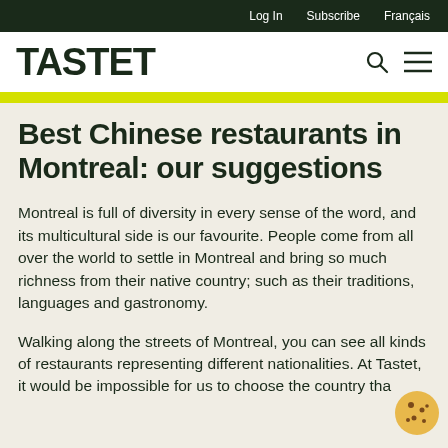Log In   Subscribe   Français
TASTET
Best Chinese restaurants in Montreal: our suggestions
Montreal is full of diversity in every sense of the word, and its multicultural side is our favourite. People come from all over the world to settle in Montreal and bring so much richness from their native country; such as their traditions, languages and gastronomy.
Walking along the streets of Montreal, you can see all kinds of restaurants representing different nationalities. At Tastet, it would be impossible for us to choose the country tha...